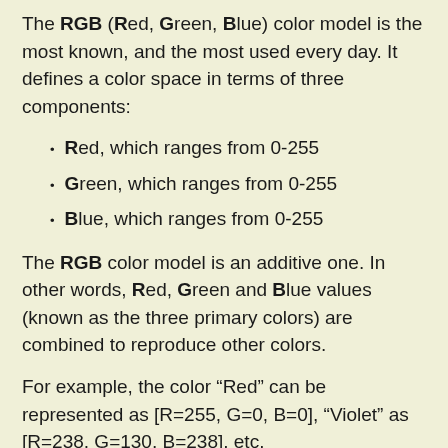The RGB (Red, Green, Blue) color model is the most known, and the most used every day. It defines a color space in terms of three components:
Red, which ranges from 0-255
Green, which ranges from 0-255
Blue, which ranges from 0-255
The RGB color model is an additive one. In other words, Red, Green and Blue values (known as the three primary colors) are combined to reproduce other colors.
For example, the color “Red” can be represented as [R=255, G=0, B=0], “Violet” as [R=238, G=130, B=238], etc.